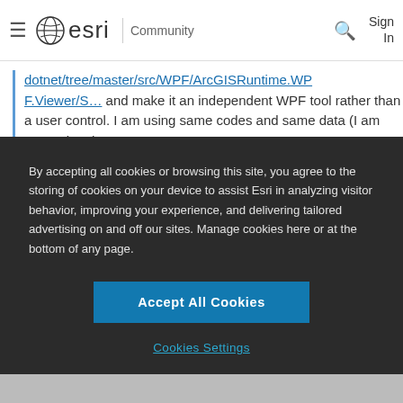esri Community — Sign In
dotnet/tree/master/src/WPF/ArcGISRuntime.WPF.Viewer/S… and make it an independent WPF tool rather than a user control. I am using same codes and same data (I am accessing the same
By accepting all cookies or browsing this site, you agree to the storing of cookies on your device to assist Esri in analyzing visitor behavior, improving your experience, and delivering tailored advertising on and off our sites. Manage cookies here or at the bottom of any page.
Accept All Cookies
Cookies Settings